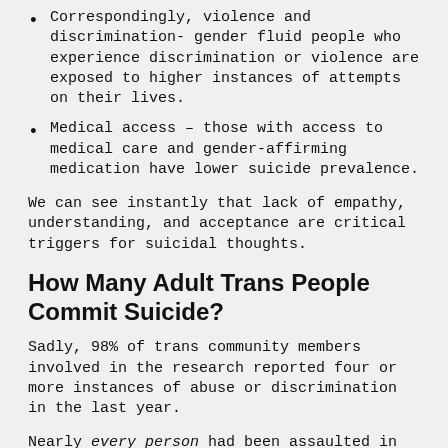Correspondingly, violence and discrimination- gender fluid people who experience discrimination or violence are exposed to higher instances of attempts on their lives.
Medical access – those with access to medical care and gender-affirming medication have lower suicide prevalence.
We can see instantly that lack of empathy, understanding, and acceptance are critical triggers for suicidal thoughts.
How Many Adult Trans People Commit Suicide?
Sadly, 98% of trans community members involved in the research reported four or more instances of abuse or discrimination in the last year.
Nearly every person had been assaulted in some way.
Of those participants, 51% attempted suicide in the same year.